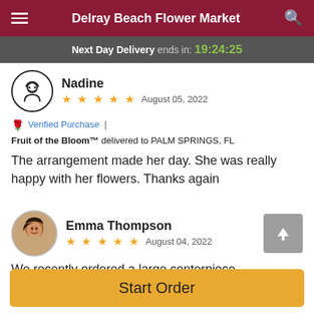Delray Beach Flower Market
Next Day Delivery ends in: 19:24:25
Nadine
★★★★★  August 05, 2022
🌹 Verified Purchase  |  Fruit of the Bloom™ delivered to PALM SPRINGS, FL
The arrangement made her day. She was really happy with her flowers. Thanks again
Emma Thompson
★★★★★  August 04, 2022
We recently ordered a large centerpiece arrangement for a
Start Order